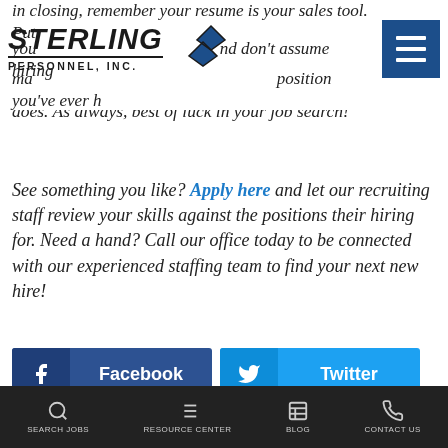Sterling Personnel, Inc. — logo and navigation header
in closing, remember your resume is your sales tool. Put your best foot forward and don't assume hiring managers already know a position you've ever held does. As always, best of luck in your job search!
See something you like? Apply here and let our recruiting staff review your skills against the positions their hiring for. Need a hand? Call our office today to be connected with our experienced staffing team to find your next new hire!
[Figure (infographic): Social share buttons: Facebook (dark blue), Twitter (light blue), LinkedIn (blue), Email (red)]
SEARCH JOBS | RESOURCE CENTER | BLOG | CONTACT US